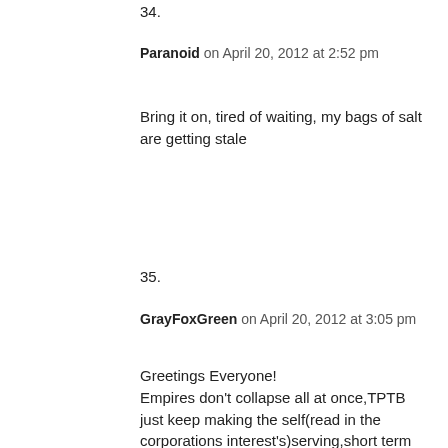34.
Paranoid on April 20, 2012 at 2:52 pm
Bring it on, tired of waiting, my bags of salt are getting stale
35.
GrayFoxGreen on April 20, 2012 at 3:05 pm
Greetings Everyone!
Empires don’t collapse all at once,TPTB just keep making the self(read in the corporations interest’s)serving,short term decisions to the detriment of the citizens as a whole.Most Empires manage to survive a few errors and FUBAR decisions and still function with some efficiency and to the general good.BUT, when they consistency serve the few to the detriment of the 98% of the rest,collapse and ruin follow.We have reached the “tipping point”.It may take take several years or even decades before it hits bottom.“The power grid” is just a symptom of the